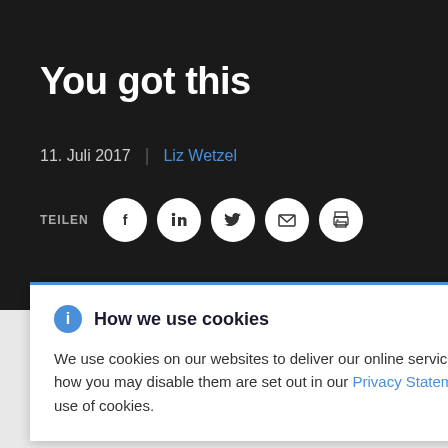You got this
11. Juli 2017  |  Liz Wetzel
TEILEN
[Figure (infographic): Cookie consent banner with info icon, title 'How we use cookies', close button, and body text explaining cookie usage with a Privacy Statement link.]
years, and I have never once illustrated anything